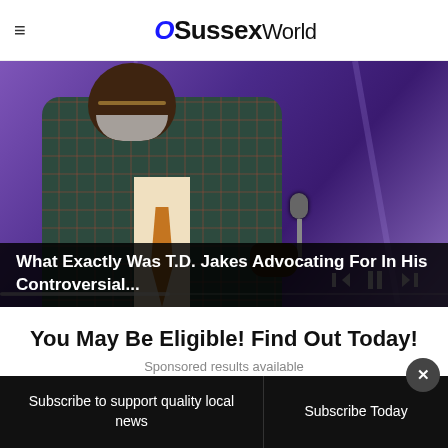≡ OSussexWorld
[Figure (photo): A Black man in a plaid suit jacket holding a microphone, speaking against a purple lit background. Video player controls visible. Caption overlay reads: What Exactly Was T.D. Jakes Advocating For In His Controversial...]
What Exactly Was T.D. Jakes Advocating For In His Controversial...
You May Be Eligible! Find Out Today!
Subscribe to support quality local news | Subscribe Today